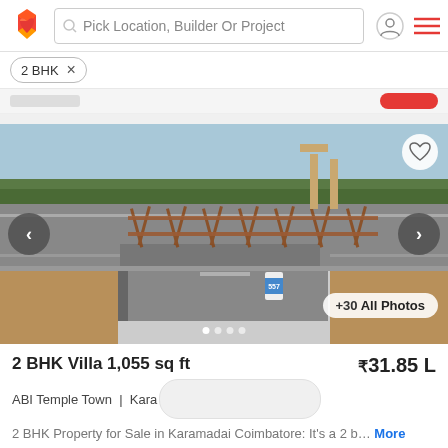Pick Location, Builder Or Project
2 BHK ×
[Figure (photo): Road with guardrail/bridge fence and palm trees in the background. Navigation arrows on left and right. Heart/favorite icon top right. '+30 All Photos' button bottom right. Image carousel dots at bottom.]
2 BHK Villa 1,055 sq ft
₹31.85 L
ABI Temple Town  |  Kara
2 BHK Property for Sale in Karamadai Coimbatore: It's a 2 b… More
ABI Infrastructure
BUILDER
Connect